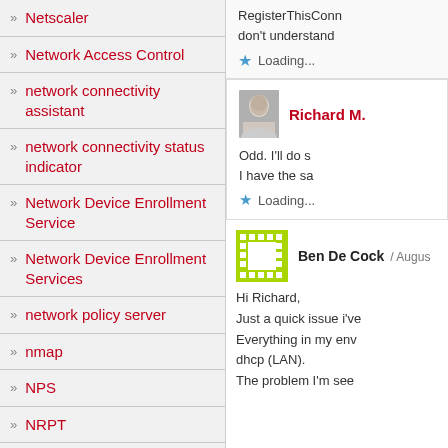Netscaler
Network Access Control
network connectivity assistant
network connectivity status indicator
Network Device Enrollment Service
Network Device Enrollment Services
network policy server
nmap
NPS
NRPT
RegisterThisConn
don't understand
Loading...
Richard M.
Odd. I'll do s
I have the sa
Loading...
Ben De Cock / Augus
Hi Richard,
Just a quick issue i've
Everything in my env
dhcp (LAN).
The problem I'm see